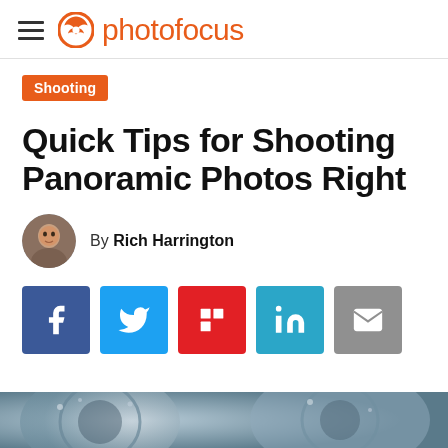photofocus
Shooting
Quick Tips for Shooting Panoramic Photos Right
By Rich Harrington
[Figure (infographic): Social share buttons: Facebook, Twitter, Flipboard, LinkedIn, Email]
[Figure (photo): Bottom edge of a panoramic lens or camera gear photo, partially visible]